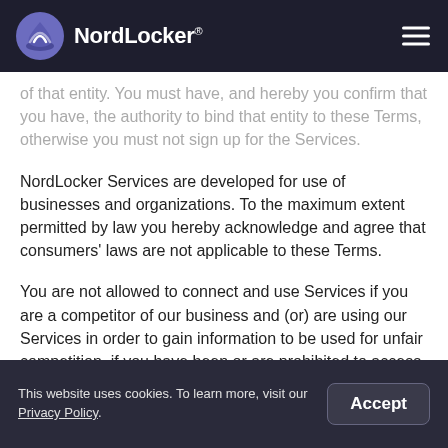NordLocker®
of that entity. You must have, and hereby you confirm that you have, the authority to bind that entity to these Terms, otherwise you must not sign up for the Services.
NordLocker Services are developed for use of businesses and organizations. To the maximum extent permitted by law you hereby acknowledge and agree that consumers' laws are not applicable to these Terms.
You are not allowed to connect and use Services if you are a competitor of our business and (or) are using our Services in order to gain information to be used for unfair competition, if you have been or are prohibited to access the Services, or if your
This website uses cookies. To learn more, visit our Privacy Policy.